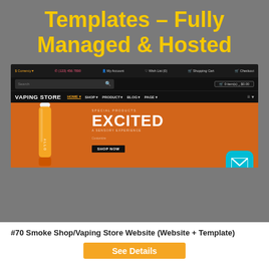Templates – Fully Managed & Hosted
[Figure (screenshot): Screenshot of a vaping store website template showing navigation bar with 'VAPING STORE' branding, search bar, and hero banner with orange background showing a vape device and 'EXCITED A Sensory Experience' text with a SHOP NOW button. A cyan email icon button is visible in the bottom right.]
#70 Smoke Shop/Vaping Store Website (Website + Template)
See Details